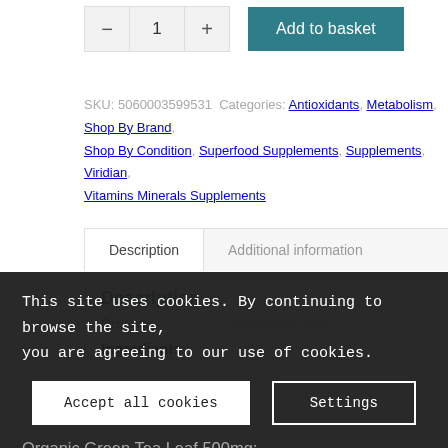[Figure (screenshot): E-commerce quantity selector with minus button, quantity '1', plus button, and 'Add to basket' teal button]
SKU: 5060003599531 Categories: Antioxidants, Metabolism, Shop By Brand, Shop By Condition, Superfood Supplements, Supplements, Viridian, Vitamins Minerals Supplements
[Figure (screenshot): Tab navigation with 'Description' (active) and 'Additional information' tabs]
Description
This site uses cookies. By continuing to browse the site, you are agreeing to our use of cookies.
Accept all cookies | Settings
Organic Green Tea Leaf 500mg; Vegan (HMPC) capsule